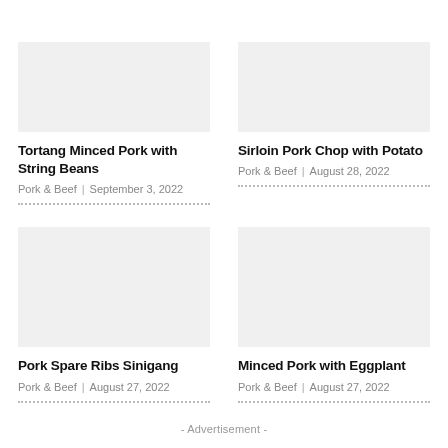Tortang Minced Pork with String Beans
Pork & Beef | September 3, 2022
Sirloin Pork Chop with Potato
Pork & Beef | August 28, 2022
Pork Spare Ribs Sinigang
Pork & Beef | August 27, 2022
Minced Pork with Eggplant
Pork & Beef | August 27, 2022
- Advertisement -